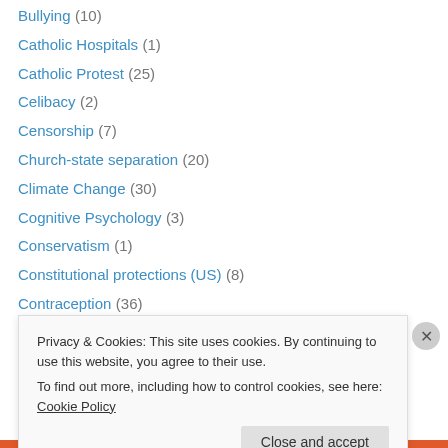Bullying (10)
Catholic Hospitals (1)
Catholic Protest (25)
Celibacy (2)
Censorship (7)
Church-state separation (20)
Climate Change (30)
Cognitive Psychology (3)
Conservatism (1)
Constitutional protections (US) (8)
Contraception (36)
Conversion therapies (5)
Corporate Power (6)
Demographics (4)
Privacy & Cookies: This site uses cookies. By continuing to use this website, you agree to their use. To find out more, including how to control cookies, see here: Cookie Policy
Close and accept